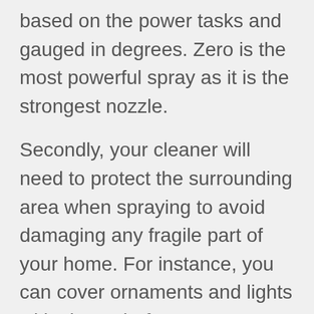based on the power tasks and gauged in degrees. Zero is the most powerful spray as it is the strongest nozzle.
Secondly, your cleaner will need to protect the surrounding area when spraying to avoid damaging any fragile part of your home. For instance, you can cover ornaments and lights with sheets before power washing services begin. Ensure to close the window and doors tightly to stop water from entering the interior area.
Before the power washing begins, the cleaner can test a small patch to ensure surrounding areas won't be damaged. After testing, they begin spraying from the top,